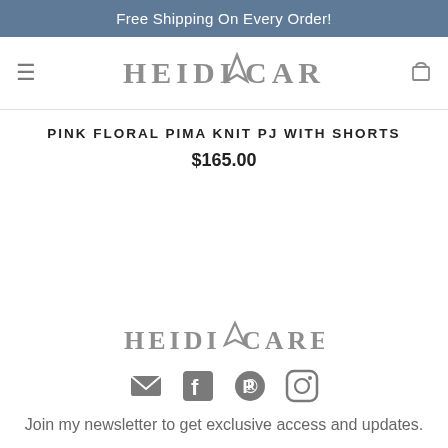Free Shipping On Every Order!
[Figure (logo): Heidi V Carey brand logo in navigation bar, grey serif font with V emblem]
PINK FLORAL PIMA KNIT PJ WITH SHORTS
$165.00
[Figure (logo): Heidi V Carey brand logo in footer section, grey serif font with V emblem]
[Figure (infographic): Social media icons: email, Facebook, Pinterest, Instagram]
Join my newsletter to get exclusive access and updates.